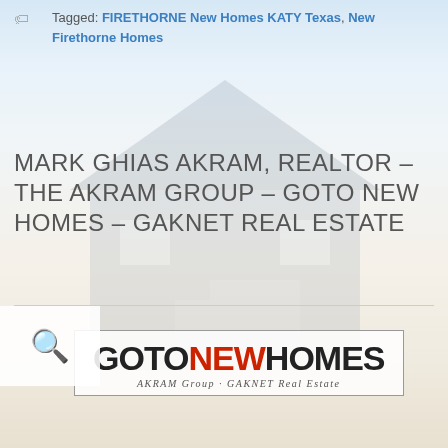Tagged: FIRETHORNE New Homes KATY Texas, New Firethorne Homes
MARK GHIAS AKRAM, REALTOR – THE AKRAM GROUP – GOTO NEW HOMES – GAKNET REAL ESTATE
[Figure (logo): GOTONEWHOMES logo with AKRAM Group - GAKNET Real Estate tagline, inside a bordered box]